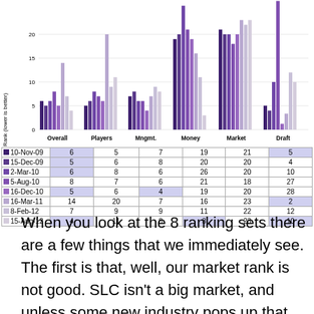[Figure (grouped-bar-chart): NBA Rankings by Category]
|  | Overall | Players | Mngmt. | Money | Market | Draft |
| --- | --- | --- | --- | --- | --- | --- |
| 10-Nov-09 | 6 | 5 | 7 | 19 | 21 | 5 |
| 15-Dec-09 | 5 | 6 | 8 | 20 | 20 | 4 |
| 2-Mar-10 | 6 | 8 | 6 | 26 | 20 | 10 |
| 5-Aug-10 | 8 | 7 | 6 | 21 | 18 | 27 |
| 16-Dec-10 | 5 | 6 | 4 | 19 | 20 | 28 |
| 16-Mar-11 | 14 | 20 | 7 | 16 | 23 | 2 |
| 8-Feb-12 | 7 | 9 | 9 | 11 | 22 | 12 |
| 15-Aug-12 | 4 | 11 | 8 | 3 | 23 | 10 |
When you look at the 8 ranking sets there are a few things that we immediately see. The first is that, well, our market rank is not good. SLC isn't a big market, and unless some new industry pops up that makes it bigger, or there's a slew of snowboarding NBA players in the next few years, the market rankings are going to